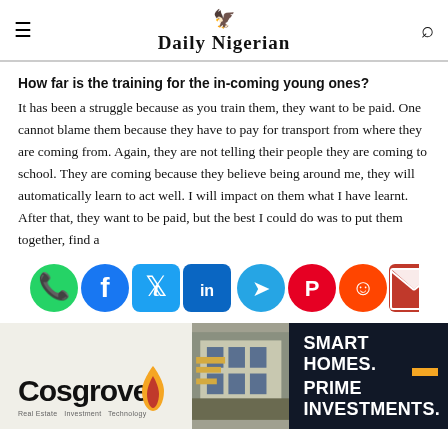Daily Nigerian
How far is the training for the in-coming young ones?
It has been a struggle because as you train them, they want to be paid. One cannot blame them because they have to pay for transport from where they are coming from. Again, they are not telling their people they are coming to school. They are coming because they believe being around me, they will automatically learn to act well. I will impact on them what I have learnt. After that, they want to be paid, but the best I could do was to put them together, find a
[Figure (infographic): Social media share icons: WhatsApp, Facebook, Twitter, LinkedIn, Telegram, Pinterest, Reddit, Email]
[Figure (infographic): Cosgrove Real Estate advertisement: Smart Homes. Prime Investments. Features Cosgrove logo with flame, building photo, and text on dark navy background.]